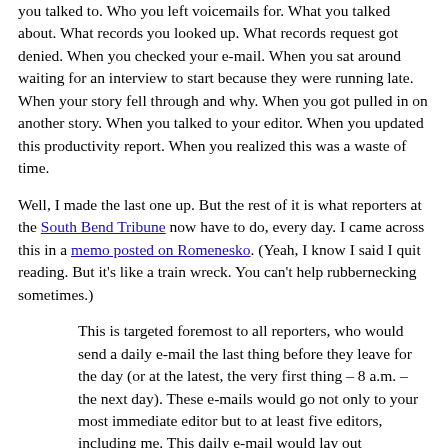you talked to. Who you left voicemails for. What you talked about. What records you looked up. What records request got denied. When you checked your e-mail. When you sat around waiting for an interview to start because they were running late. When your story fell through and why. When you got pulled in on another story. When you talked to your editor. When you updated this productivity report. When you realized this was a waste of time.
Well, I made the last one up. But the rest of it is what reporters at the South Bend Tribune now have to do, every day. I came across this in a memo posted on Romenesko. (Yeah, I know I said I quit reading. But it's like a train wreck. You can't help rubbernecking sometimes.)
This is targeted foremost to all reporters, who would send a daily e-mail the last thing before they leave for the day (or at the latest, the very first thing – 8 a.m. – the next day). These e-mails would go not only to your most immediate editor but to at least five editors, including me. This daily e-mail would lay out specifically what you accomplished that day, what you need to finish or follow up on the next day, and what you plan to do that next day. We mean everything, from the most mundane county council advance to the beginning interview in the most ambitious